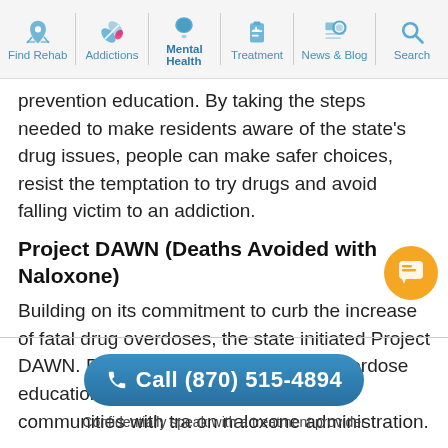Find Rehab | Addictions | Mental Health | Treatment | News & Blog | Search
prevention education. By taking the steps needed to make residents aware of the state's drug issues, people can make safer choices, resist the temptation to try drugs and avoid falling victim to an addiction.
Project DAWN (Deaths Avoided with Naloxone)
Building on its commitment to curb the increase of fatal drug overdoses, the state initiated Project DAWN. Project DAWN is a naloxone overdose education program that provides Ohio's communities with tra on naloxone administration.
Call (870) 515-4894
Confidentially speak with a treatment provider